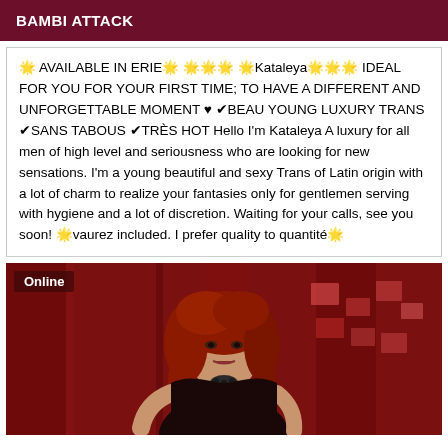BAMBI ATTACK
🌟 AVAILABLE IN ERIE🌟 🌟🌟🌟 🌟Kataleya🌟🌟🌟 IDEAL FOR YOU FOR YOUR FIRST TIME; TO HAVE A DIFFERENT AND UNFORGETTABLE MOMENT ♥ ✔BEAU YOUNG LUXURY TRANS ✔SANS TABOUS ✔TRÈS HOT Hello I'm Kataleya A luxury for all men of high level and seriousness who are looking for new sensations. I'm a young beautiful and sexy Trans of Latin origin with a lot of charm to realize your fantasies only for gentlemen serving with hygiene and a lot of discretion. Waiting for your calls, see you soon! 🌟vaurez included. I prefer quality to quantité🌟
[Figure (photo): Photo of a woman with red hair against a red curtain background, with an 'Online' badge in the top left corner.]